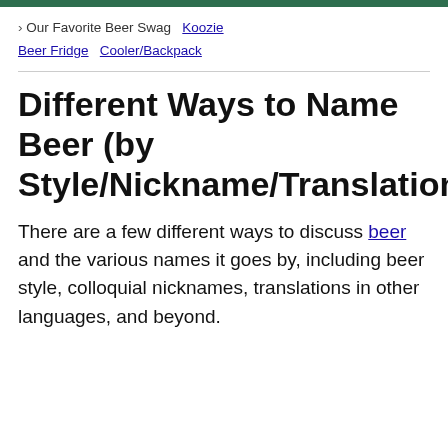› Our Favorite Beer Swag  Koozie  Beer Fridge  Cooler/Backpack
Different Ways to Name Beer (by Style/Nickname/Translation)
There are a few different ways to discuss beer and the various names it goes by, including beer style, colloquial nicknames, translations in other languages, and beyond.